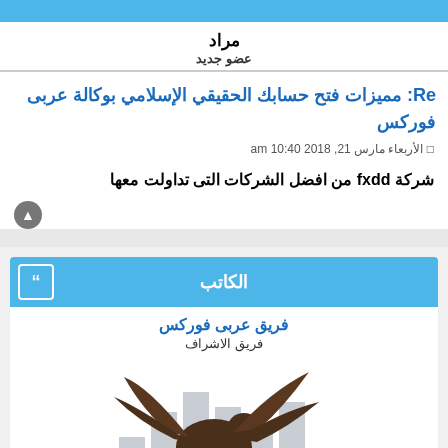مراد
عضو جديد
Re: مميزات فتح حسابك الحقيقي الإسلامي بوكالة عربى فوركس
الأربعاء مارس 21, 2018 10:40 am
شركة fxdd من افضل الشركات التى تداولت معها
الكاتب
فريق عربى فوركس
فريق الاشراف
[Figure (logo): Araby FX logo with eagle and bar chart graphic]